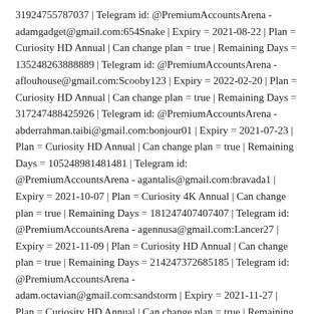31924755787037 | Telegram id: @PremiumAccountsArena - adamgadget@gmail.com:654Snake | Expiry = 2021-08-22 | Plan = Curiosity HD Annual | Can change plan = true | Remaining Days = 135248263888889 | Telegram id: @PremiumAccountsArena - aflouhouse@gmail.com:Scooby123 | Expiry = 2022-02-20 | Plan = Curiosity HD Annual | Can change plan = true | Remaining Days = 317247488425926 | Telegram id: @PremiumAccountsArena - abderrahman.taibi@gmail.com:bonjour01 | Expiry = 2021-07-23 | Plan = Curiosity HD Annual | Can change plan = true | Remaining Days = 105248981481481 | Telegram id: @PremiumAccountsArena - agantalis@gmail.com:bravada1 | Expiry = 2021-10-07 | Plan = Curiosity 4K Annual | Can change plan = true | Remaining Days = 181247407407407 | Telegram id: @PremiumAccountsArena - agennusa@gmail.com:Lancer27 | Expiry = 2021-11-09 | Plan = Curiosity HD Annual | Can change plan = true | Remaining Days = 214247372685185 | Telegram id: @PremiumAccountsArena - adam.octavian@gmail.com:sandstorm | Expiry = 2021-11-27 | Plan = Curiosity HD Annual | Can change plan = true | Remaining Days = 232248402777778 | Telegram id: @PremiumAccountsArena